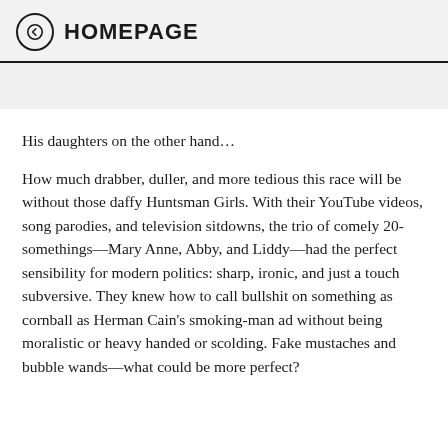HOMEPAGE
His daughters on the other hand…
How much drabber, duller, and more tedious this race will be without those daffy Huntsman Girls. With their YouTube videos, song parodies, and television sitdowns, the trio of comely 20-somethings—Mary Anne, Abby, and Liddy—had the perfect sensibility for modern politics: sharp, ironic, and just a touch subversive. They knew how to call bullshit on something as cornball as Herman Cain's smoking-man ad without being moralistic or heavy handed or scolding. Fake mustaches and bubble wands—what could be more perfect?